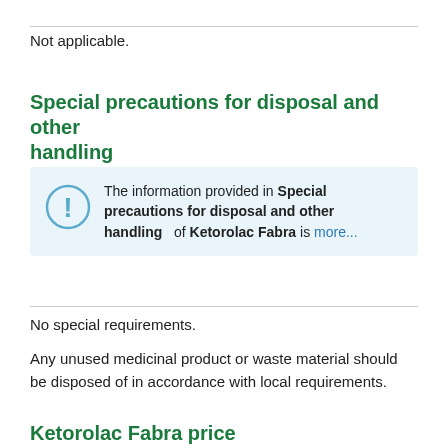Not applicable.
Special precautions for disposal and other handling
The information provided in Special precautions for disposal and other handling of Ketorolac Fabra is more...
No special requirements.
Any unused medicinal product or waste material should be disposed of in accordance with local requirements.
Ketorolac Fabra price